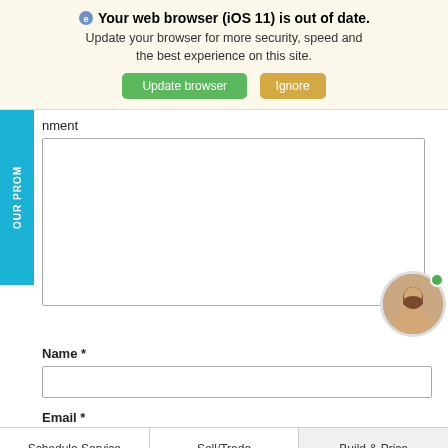Your web browser (iOS 11) is out of date.
Update your browser for more security, speed and the best experience on this site.
Update browser | Ignore
OUR PROM
nment
Name *
Email *
Schedule Service | Sell/Trade | Build & Price